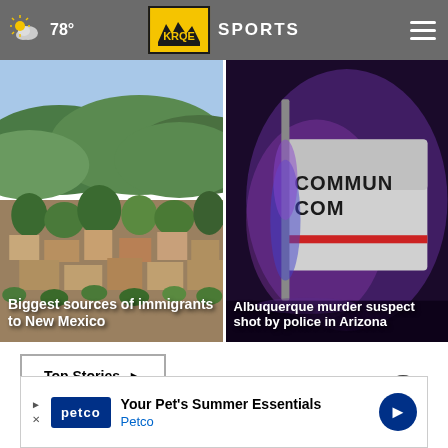78° KRQE SPORTS
[Figure (photo): Aerial view of a neighborhood with adobe-style buildings and green trees, hills in background — New Mexico landscape]
Biggest sources of immigrants to New Mexico
[Figure (photo): Emergency/police vehicle at night with purple/blue lighting, text COMMUN... visible — Albuquerque police scene]
Albuquerque murder suspect shot by police in Arizona
Top Stories ▶
[Figure (screenshot): Petco advertisement banner: Your Pet's Summer Essentials - Petco]
Your Pet's Summer Essentials Petco